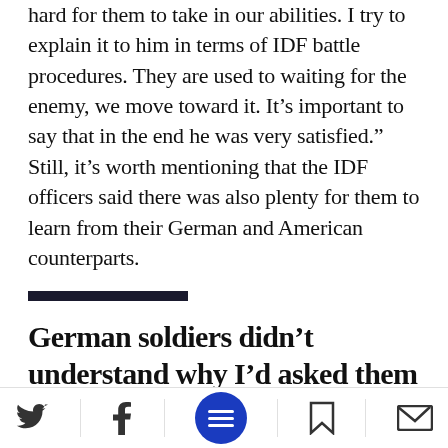hard for them to take in our abilities. I try to explain it to him in terms of IDF battle procedures. They are used to waiting for the enemy, we move toward it. It’s important to say that in the end he was very satisfied.” Still, it’s worth mentioning that the IDF officers said there was also plenty for them to learn from their German and American counterparts.
German soldiers didn’t understand why I’d asked them how they felt about training together with Israelis. They had no idea what I